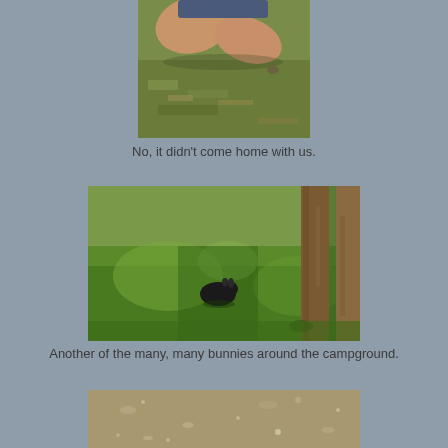[Figure (photo): Close-up of a person's legs crossed on grass, shot from above showing bare legs and dry/green grass below]
No, it didn't come home with us.
[Figure (photo): A dark/black bunny sitting on green grass near tree trunks in a campground, with dappled sunlight and shadows]
Another of the many, many bunnies around the campground.
[Figure (photo): Partial view of a dirt/gravel path or ground at a campground (image cut off at bottom of page)]